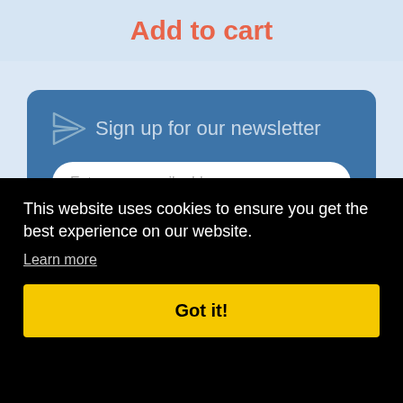Add to cart
[Figure (screenshot): Newsletter signup card with paper plane icon, email input field, and Subscribe button on a blue background]
This website uses cookies to ensure you get the best experience on our website.
Learn more
Got it!